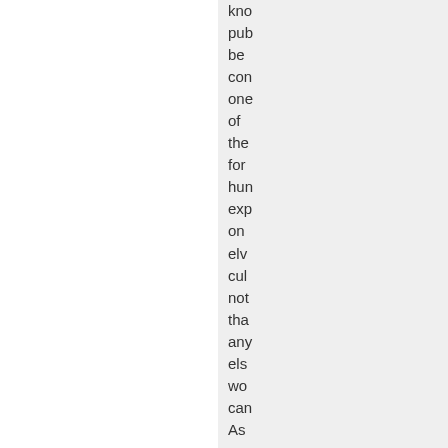kno pub be con one of the for hun exp on elv cul not tha any els wo can As a res of ove a